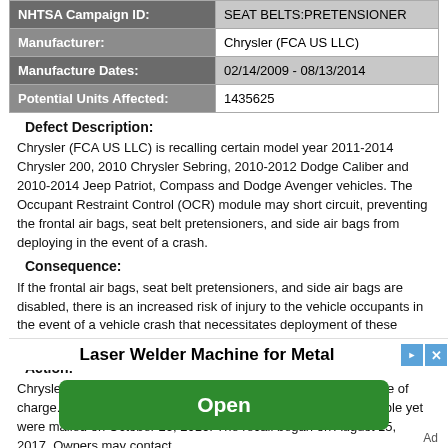| NHTSA Campaign ID: | SEAT BELTS:PRETENSIONER |
| Manufacturer: | Chrysler (FCA US LLC) |
| Manufacture Dates: | 02/14/2009 - 08/13/2014 |
| Potential Units Affected: | 1435625 |
Defect Description:
Chrysler (FCA US LLC) is recalling certain model year 2011-2014 Chrysler 200, 2010 Chrysler Sebring, 2010-2012 Dodge Caliber and 2010-2014 Jeep Patriot, Compass and Dodge Avenger vehicles. The Occupant Restraint Control (OCR) module may short circuit, preventing the frontal air bags, seat belt pretensioners, and side air bags from deploying in the event of a crash.
Consequence:
If the frontal air bags, seat belt pretensioners, and side air bags are disabled, there is an increased risk of injury to the vehicle occupants in the event of a vehicle crash that necessitates deployment of these safety systems.
Action:
Chrysler will notify owners, and dealers will replace the OCR, free of charge. Interim letters informing owners that parts are not available yet were mailed on October 26, 2016. The recall began on August 15, 2017. Owners may contact
Laser Welder Machine for Metal
Open
Ad